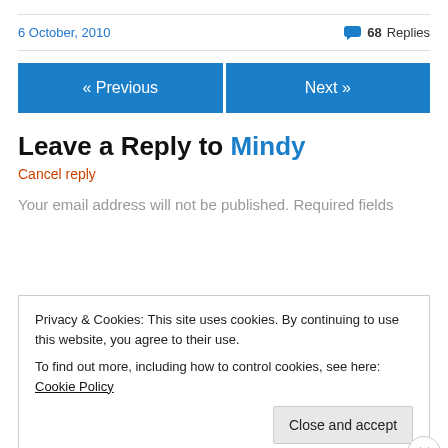6 October, 2010
68 Replies
« Previous
Next »
Leave a Reply to Mindy
Cancel reply
Your email address will not be published. Required fields
Privacy & Cookies: This site uses cookies. By continuing to use this website, you agree to their use.
To find out more, including how to control cookies, see here: Cookie Policy
Close and accept